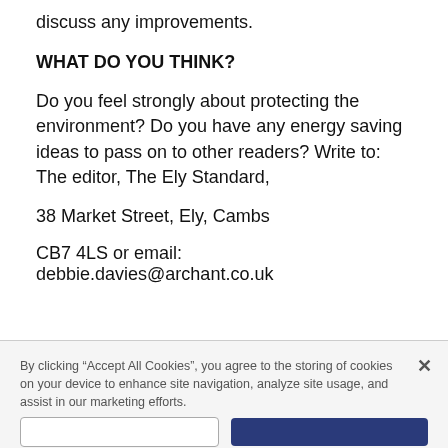discuss any improvements.
WHAT DO YOU THINK?
Do you feel strongly about protecting the environment? Do you have any energy saving ideas to pass on to other readers? Write to: The editor, The Ely Standard,
38 Market Street, Ely, Cambs
CB7 4LS or email: debbie.davies@archant.co.uk
By clicking “Accept All Cookies”, you agree to the storing of cookies on your device to enhance site navigation, analyze site usage, and assist in our marketing efforts.